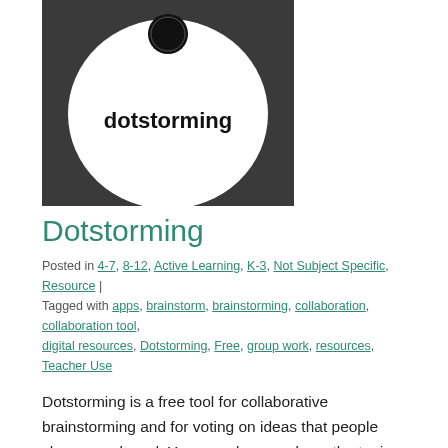[Figure (logo): Dotstorming logo — dark gray background with large white oval, small black circle at top, bold text 'dotstorming' in black inside the white oval]
Dotstorming
Posted in 4-7, 8-12, Active Learning, K-3, Not Subject Specific, Resource | Tagged with apps, brainstorm, brainstorming, collaboration, collaboration tool, digital resources, Dotstorming, Free, group work, resources, Teacher Use
Dotstorming is a free tool for collaborative brainstorming and for voting on ideas that people share on a board. You can place cards on the topics board with ideas or options that people can vote on. Also, there are various types of boards (a collage, a voting board, and a wall). The different kinds of [...]